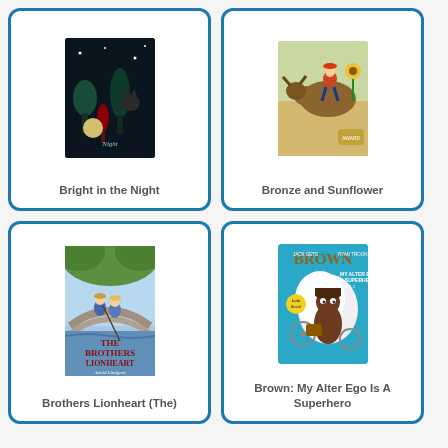[Figure (illustration): Book cover: Bright in the Night - dark background with trees and a cat]
Bright in the Night
[Figure (illustration): Book cover: Bronze and Sunflower - illustrated scene with riders on a bull]
Bronze and Sunflower
[Figure (illustration): Book cover: The Brothers Lionheart by Astrid Lindgren - two children sitting on a stone bridge]
Brothers Lionheart (The)
[Figure (illustration): Book cover: Brown: My Alter Ego Is A Superhero - teal cover with cartoon character in brown costume]
Brown: My Alter Ego Is A Superhero